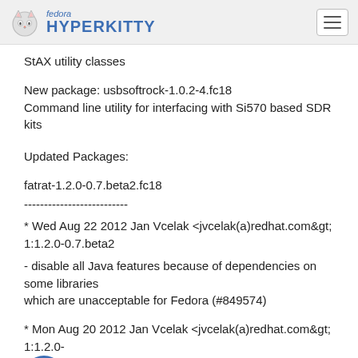fedora HYPERKITTY
StAX utility classes
New package: usbsoftrock-1.0.2-4.fc18
Command line utility for interfacing with Si570 based SDR kits
Updated Packages:
fatrat-1.2.0-0.7.beta2.fc18
-------------------------
* Wed Aug 22 2012 Jan Vcelak <jvcelak(a)redhat.com&gt; 1:1.2.0-0.7.beta2
- disable all Java features because of dependencies on some libraries
which are unacceptable for Fedora (#849574)
* Mon Aug 20 2012 Jan Vcelak <jvcelak(a)redhat.com&gt; 1:1.2.0-0.eta2
- base to new upstream release
- remove bundled Java libraries (#849574)